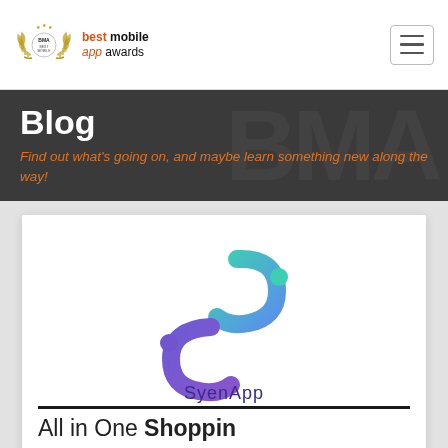best mobile app awards
Blog
Find out what's going on, and maybe learn something new along the way!
[Figure (logo): SyenApp logo: stylized double-S shape in teal and purple gradient, with the text 'SyenApp' below, followed by 'All in One Shoppin' text with horizontal rules above and below]